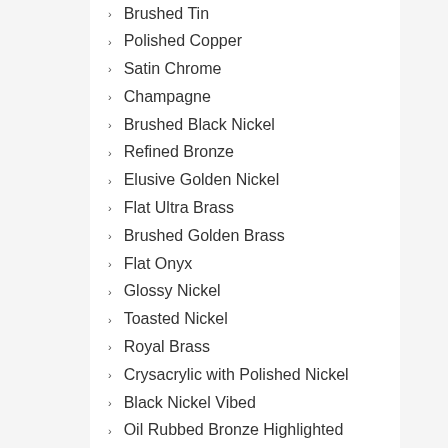Brushed Tin
Polished Copper
Satin Chrome
Champagne
Brushed Black Nickel
Refined Bronze
Elusive Golden Nickel
Flat Ultra Brass
Brushed Golden Brass
Flat Onyx
Glossy Nickel
Toasted Nickel
Royal Brass
Crysacrylic with Polished Nickel
Black Nickel Vibed
Oil Rubbed Bronze Highlighted
Windover Antique
Pearl Nickel
Rustic Iron
Iced Tea Nickel
Crysacrylic
Satin Dover
Satin Rose Gold